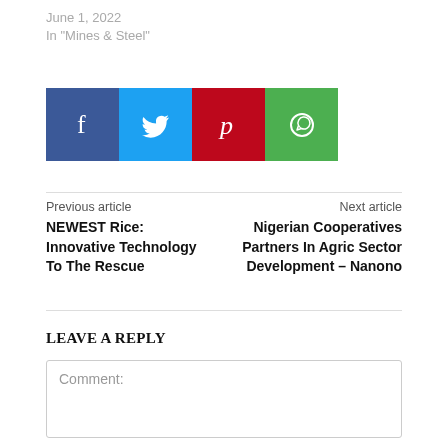June 1, 2022
In "Mines & Steel"
[Figure (infographic): Social media share buttons: Facebook (blue), Twitter (light blue), Pinterest (red), WhatsApp (green)]
Previous article
NEWEST Rice: Innovative Technology To The Rescue
Next article
Nigerian Cooperatives Partners In Agric Sector Development – Nanono
LEAVE A REPLY
Comment: